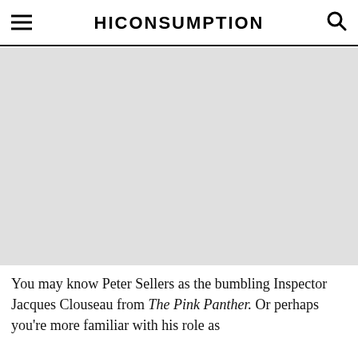HICONSUMPTION
[Figure (photo): Large image area placeholder (article image)]
You may know Peter Sellers as the bumbling Inspector Jacques Clouseau from The Pink Panther. Or perhaps you're more familiar with his role as